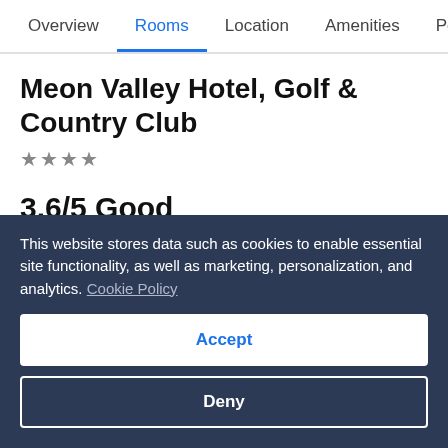Overview  Rooms  Location  Amenities  Policies  R
Meon Valley Hotel, Golf & Country Club
★★★★
3.6/5 Good
Guests rated this property 3.6/5 for cleanliness.
See all 923 reviews >
This website stores data such as cookies to enable essential site functionality, as well as marketing, personalization, and analytics. Cookie Policy
Accept
Deny